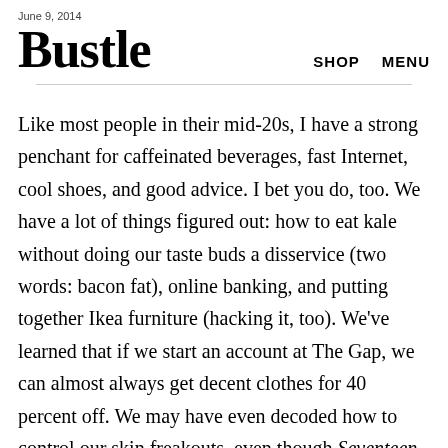June 9, 2014
Bustle
SHOP   MENU
Like most people in their mid-20s, I have a strong penchant for caffeinated beverages, fast Internet, cool shoes, and good advice. I bet you do, too. We have a lot of things figured out: how to eat kale without doing our taste buds a disservice (two words: bacon fat), online banking, and putting together Ikea furniture (hacking it, too). We've learned that if we start an account at The Gap, we can almost always get decent clothes for 40 percent off. We may have even decoded how to control our skin freakouts, even though Seventeen magazine promised our faces would clear by now (lies, all lies). However, many aspects still remain confusing: all the relationships in our lives